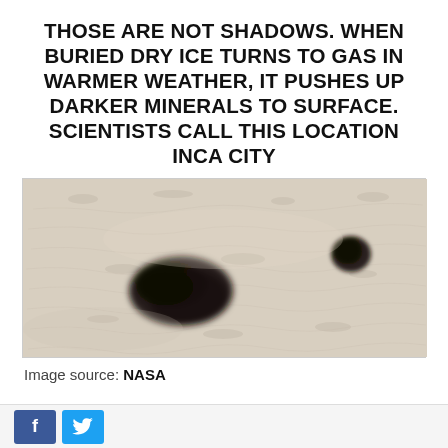THOSE ARE NOT SHADOWS. WHEN BURIED DRY ICE TURNS TO GAS IN WARMER WEATHER, IT PUSHES UP DARKER MINERALS TO SURFACE. SCIENTISTS CALL THIS LOCATION INCA CITY
[Figure (photo): Aerial/satellite photograph of Mars surface showing two dark patches (minerals pushed to surface by dry ice sublimation) against a light-colored, textured background. The larger dark patch is on the left, a smaller one on the right.]
Image source: NASA
WIND SHAPED DUNES ON MARS CRAWL